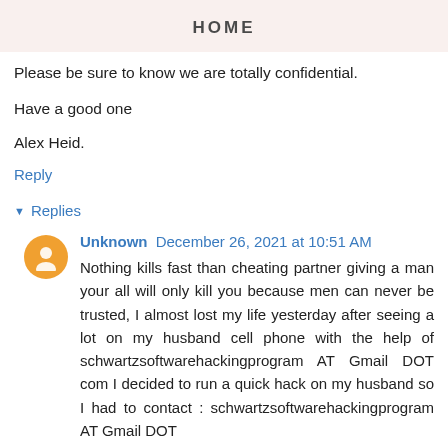HOME
Please be sure to know we are totally confidential.
Have a good one
Alex Heid.
Reply
▾ Replies
Unknown December 26, 2021 at 10:51 AM
Nothing kills fast than cheating partner giving a man your all will only kill you because men can never be trusted, I almost lost my life yesterday after seeing a lot on my husband cell phone with the help of schwartzsoftwarehackingprogram AT Gmail DOT com I decided to run a quick hack on my husband so I had to contact : schwartzsoftwarehackingprogram AT Gmail DOT...